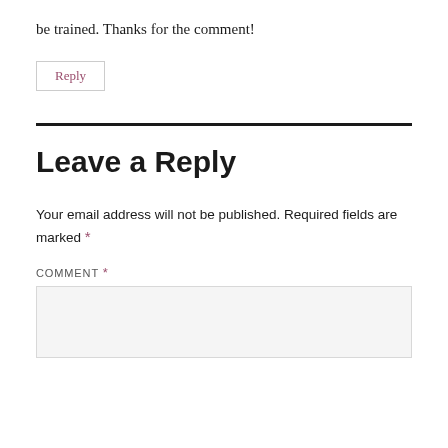be trained. Thanks for the comment!
Reply
Leave a Reply
Your email address will not be published. Required fields are marked *
COMMENT *